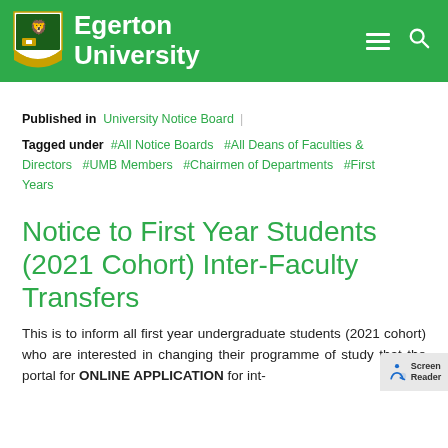Egerton University
Published in  University Notice Board
Tagged under  #All Notice Boards  #All Deans of Faculties & Directors  #UMB Members  #Chairmen of Departments  #First Years
Notice to First Year Students (2021 Cohort) Inter-Faculty Transfers
This is to inform all first year undergraduate students (2021 cohort) who are interested in changing their programme of study that the portal for ONLINE APPLICATION for int-